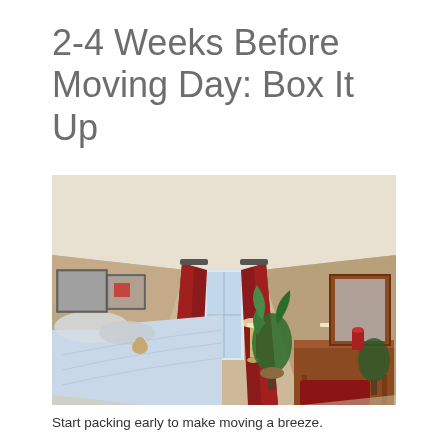2-4 Weeks Before Moving Day: Box It Up
[Figure (photo): Interior bedroom photo showing a made bed with blue paisley bedding, red curtains flanking a window, framed artwork on the left wall, a wooden dresser with lamp and mirror on the right, and large potted plants.]
Start packing early to make moving a breeze.